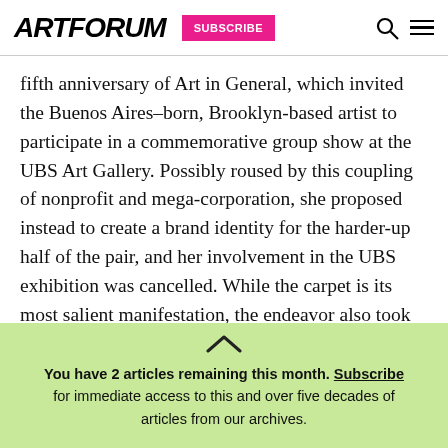ARTFORUM | SUBSCRIBE
fifth anniversary of Art in General, which invited the Buenos Aires–born, Brooklyn-based artist to participate in a commemorative group show at the UBS Art Gallery. Possibly roused by this coupling of nonprofit and mega-corporation, she proposed instead to create a brand identity for the harder-up half of the pair, and her involvement in the UBS exhibition was cancelled. While the carpet is its most salient manifestation, the endeavor also took on
You have 2 articles remaining this month. Subscribe for immediate access to this and over five decades of articles from our archives.